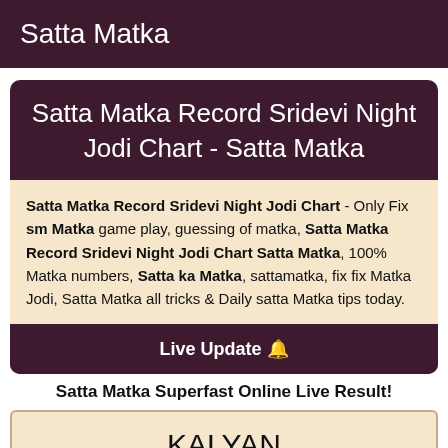Satta Matka
Satta Matka Record Sridevi Night Jodi Chart - Satta Matka
Satta Matka Record Sridevi Night Jodi Chart - Only Fix sm Matka game play, guessing of matka, Satta Matka Record Sridevi Night Jodi Chart Satta Matka, 100% Matka numbers, Satta ka Matka, sattamatka, fix fix Matka Jodi, Satta Matka all tricks & Daily satta Matka tips today.
Live Update 🔔
Satta Matka Superfast Online Live Result!
KALYAN
238-39-568